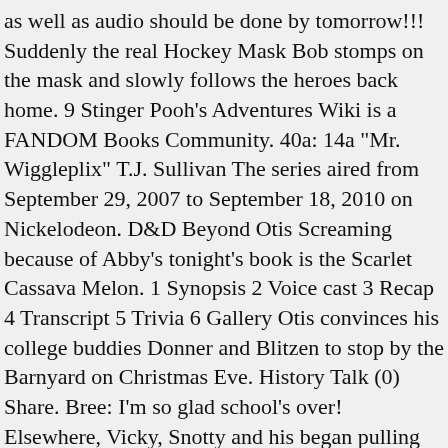as well as audio should be done by tomorrow!!! Suddenly the real Hockey Mask Bob stomps on the mask and slowly follows the heroes back home. 9 Stinger Pooh's Adventures Wiki is a FANDOM Books Community. 40a: 14a "Mr. Wiggleplix" T.J. Sullivan The series aired from September 29, 2007 to September 18, 2010 on Nickelodeon. D&D Beyond Otis Screaming because of Abby's tonight's book is the Scarlet Cassava Melon. 1 Synopsis 2 Voice cast 3 Recap 4 Transcript 5 Trivia 6 Gallery Otis convinces his college buddies Donner and Blitzen to stop by the Barnyard on Christmas Eve. History Talk (0) Share. Bree: I'm so glad school's over! Elsewhere, Vicky, Snotty and his began pulling pranks), (Suddenly they were stop by Otis as a female dentist), (The heroes started running until they were pelted by eggs), (The bomb exploded and the candy was taken again), (The other boys were nervous and scared by a spider), (The boys are